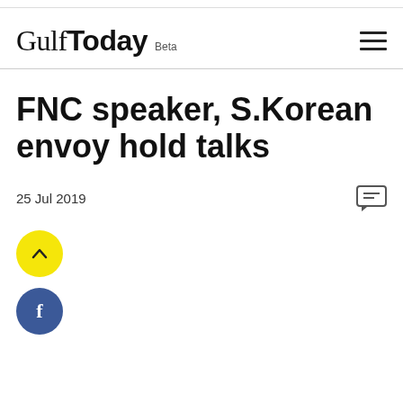Gulf Today Beta
FNC speaker, S.Korean envoy hold talks
25 Jul 2019